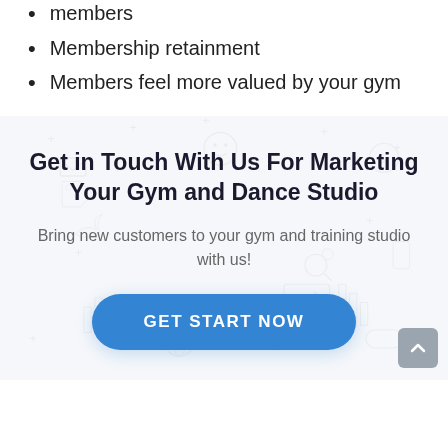members
Membership retainment
Members feel more valued by your gym
Get in Touch With Us For Marketing Your Gym and Dance Studio
Bring new customers to your gym and training studio with us!
GET START NOW